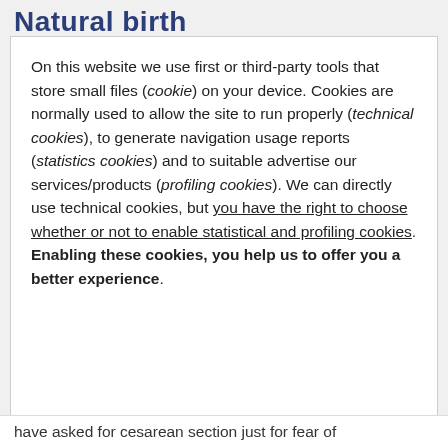Natural birth
On this website we use first or third-party tools that store small files (cookie) on your device. Cookies are normally used to allow the site to run properly (technical cookies), to generate navigation usage reports (statistics cookies) and to suitable advertise our services/products (profiling cookies). We can directly use technical cookies, but you have the right to choose whether or not to enable statistical and profiling cookies. Enabling these cookies, you help us to offer you a better experience.
have asked for cesarean section just for fear of